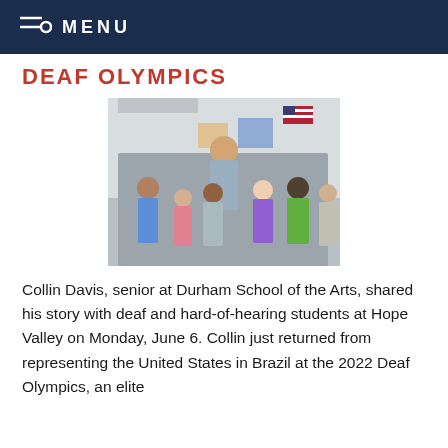MENU
DEAF OLYMPICS
[Figure (photo): A group photo of approximately 12 elementary school children and a tall young man in a white cap and gray shirt holding medals, standing in a classroom with an American flag and bulletin boards visible in the background.]
Collin Davis, senior at Durham School of the Arts, shared his story with deaf and hard-of-hearing students at Hope Valley on Monday, June 6. Collin just returned from representing the United States in Brazil at the 2022 Deaf Olympics, an elite